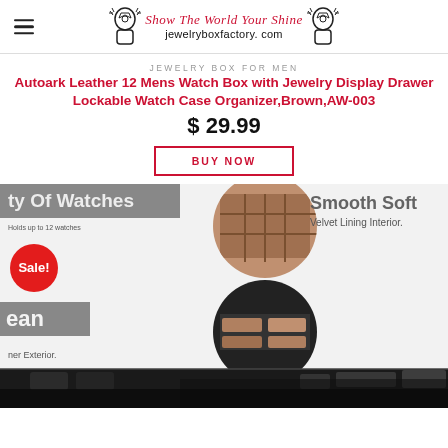Show The World Your Shine jewelryboxfactory.com
JEWELRY BOX FOR MEN
Autoark Leather 12 Mens Watch Box with Jewelry Display Drawer Lockable Watch Case Organizer,Brown,AW-003
$ 29.99
BUY NOW
[Figure (photo): Product photo of a watch box organizer with 'Smooth Soft Velvet Lining Interior' text and 'Sale!' badge. Shows circular inset images of watch box interior and leather exterior detail. Bottom shows a corner of the black watch box with watch compartments.]